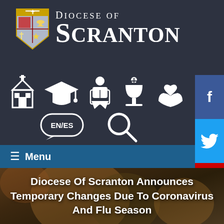[Figure (logo): Diocese of Scranton logo with heraldic crest/shield and white text 'DIOCESE OF SCRANTON' on dark background]
[Figure (infographic): Navigation icons row: church building, graduation cap, person reading, chalice, hands with heart — white icons on dark background]
[Figure (infographic): Sub-navigation: EN/ES language toggle speech bubble icon and search magnifying glass icon — white on dark background]
[Figure (infographic): Social media sidebar icons: Facebook (blue), Twitter (blue), YouTube (red)]
☰ Menu
Diocese Of Scranton Announces Temporary Changes Due To Coronavirus And Flu Season